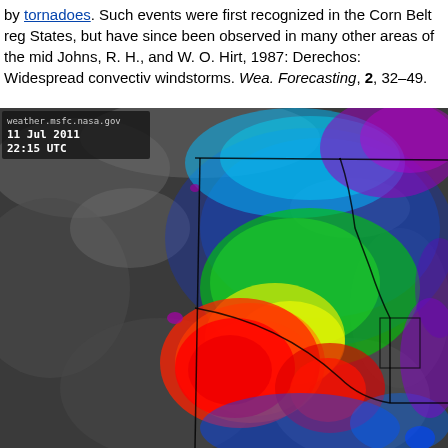by tornadoes. Such events were first recognized in the Corn Belt region of the United States, but have since been observed in many other areas of the mid-latitudes (e.g., Johns, R. H., and W. O. Hirt, 1987: Derechos: Widespread convective windstorms. Wea. Forecasting, 2, 32–49.
[Figure (map): NASA MSFC satellite weather radar composite image showing a large convective storm system over the central/eastern United States. Image timestamp: 11 Jul 2011, 22:15 UTC. Color scale from gray (no precipitation) through blue, green, yellow, orange, red indicating increasing storm intensity. A large intense core (red/orange) is visible in the lower-center of the image over the Midwest, with green and blue regions extending to the north and east.]